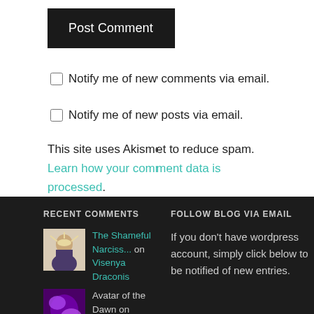Post Comment
Notify me of new comments via email.
Notify me of new posts via email.
This site uses Akismet to reduce spam. Learn how your comment data is processed.
RECENT COMMENTS
The Shameful Narciss... on Visenya Draconis
Avatar of the Dawn on Visenya
FOLLOW BLOG VIA EMAIL
If you don't have wordpress account, simply click below to be notified of new entries.